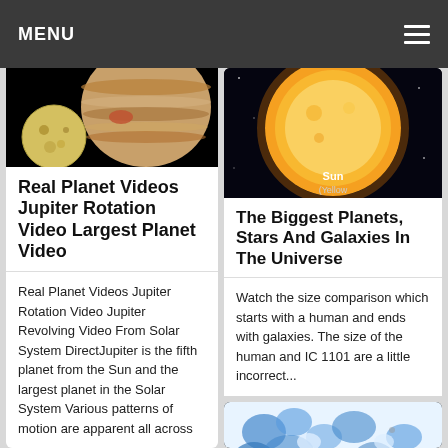MENU
[Figure (photo): Dark space image showing Jupiter and one of its moons (likely Io) against a black background]
Real Planet Videos Jupiter Rotation Video Largest Planet Video
Real Planet Videos Jupiter Rotation Video Jupiter Revolving Video From Solar System DirectJupiter is the fifth planet from the Sun and the largest planet in the Solar SystemVarious patterns of motion are apparent all across
[Figure (photo): Dark space image showing a large orange/yellow star (Sun, Yellow) with a size comparison label]
The Biggest Planets, Stars And Galaxies In The Universe
Watch the size comparison which starts with a human and ends with galaxies. The size of the human and IC 1101 are a little incorrect...
[Figure (photo): Blue and white microscope or space image, partially visible at bottom right]